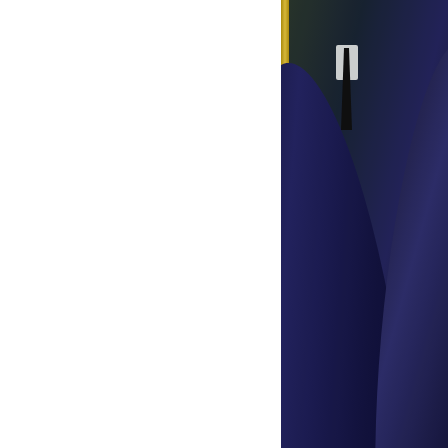[Figure (photo): Photograph of two men in dark suits, one holding a golden decorative object, partially cropped. A gold-framed element is visible on the left side of the image.]
Khan is also close friends with the Rockefellers and the Rothschilds
In a speech at New York's Plaza Hotel in October 1996, David Roc
"His Highness the Aga Khan is a man of vision, intellect, and
I've had the pleasure of knowing him for almost forty years, e